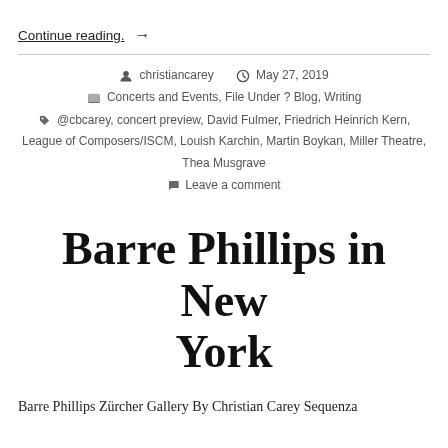Continue reading  →
christiancarey   May 27, 2019   Concerts and Events, File Under ? Blog, Writing   @cbcarey, concert preview, David Fulmer, Friedrich Heinrich Kern, League of Composers/ISCM, Louish Karchin, Martin Boykan, Miller Theatre, Thea Musgrave   Leave a comment
Barre Phillips in New York
Barre Phillips Zürcher Gallery By Christian Carey Sequenza